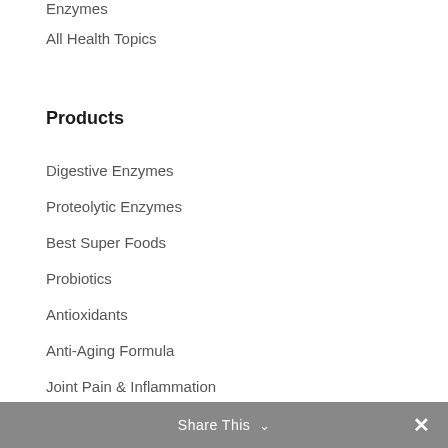Enzymes
All Health Topics
Products
Digestive Enzymes
Proteolytic Enzymes
Best Super Foods
Probiotics
Antioxidants
Anti-Aging Formula
Joint Pain & Inflammation
Sugar Metabolic Enhancers
Share This ∨  ✕